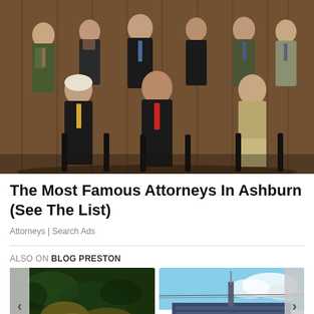[Figure (photo): Group photo of attorneys in formal business attire, seated and standing in two rows against a wood-paneled background]
The Most Famous Attorneys In Ashburn (See The List)
Attorneys | Search Ads
ALSO ON BLOG PRESTON
[Figure (photo): Thumbnail image of brass musical instruments in a dark, natural setting]
s ago • 4 comments
[Figure (photo): Thumbnail image of a building with a tower or antenna against a partly cloudy sky]
8 days ago • 9 comment